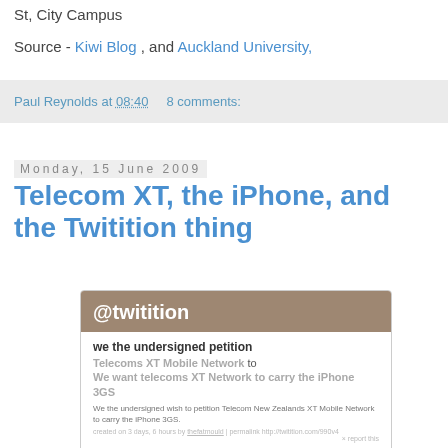St, City Campus
Source - Kiwi Blog , and Auckland University,
Paul Reynolds at 08:40   8 comments:
Monday, 15 June 2009
Telecom XT, the iPhone, and the Twitition thing
[Figure (screenshot): Screenshot of the @twitition website showing a petition titled 'we the undersigned petition Telecoms XT Mobile Network to We want telecoms XT Network to carry the iPhone 3GS'. Includes small description text, meta info, sign using Twitter account prompt, and the number 14.]